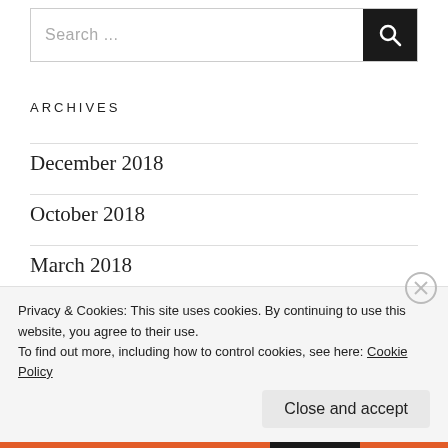[Figure (screenshot): Search bar with placeholder text 'Search ...' and a dark search button with magnifying glass icon]
ARCHIVES
December 2018
October 2018
March 2018
January 2018
December 2017
Privacy & Cookies: This site uses cookies. By continuing to use this website, you agree to their use.
To find out more, including how to control cookies, see here: Cookie Policy
Close and accept